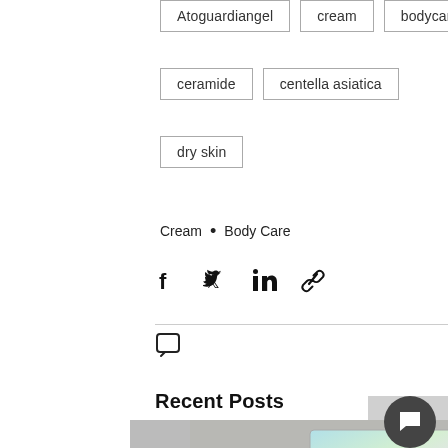Atoguardiangel
cream
bodycare
ceramide
centella asiatica
dry skin
Cream • Body Care
[Figure (infographic): Social share icons: Facebook, Twitter, LinkedIn, link]
2 ♥
Recent Posts
See All
[Figure (photo): Photo strip showing product images including holographic packaging labeled JOANDRI]